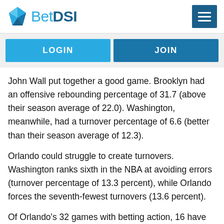BetDSI
LOGIN
JOIN
John Wall put together a good game. Brooklyn had an offensive rebounding percentage of 31.7 (above their season average of 22.0). Washington, meanwhile, had a turnover percentage of 6.6 (better than their season average of 12.3).
Orlando could struggle to create turnovers. Washington ranks sixth in the NBA at avoiding errors (turnover percentage of 13.3 percent), while Orlando forces the seventh-fewest turnovers (13.6 percent).
Of Orlando's 32 games with betting action, 16 have finished over the O/U total, while 21 of Washington's 31 games have finished under the O/U total. The Wizards come into this game with a clear advantage in terms of straight up (SU) and against